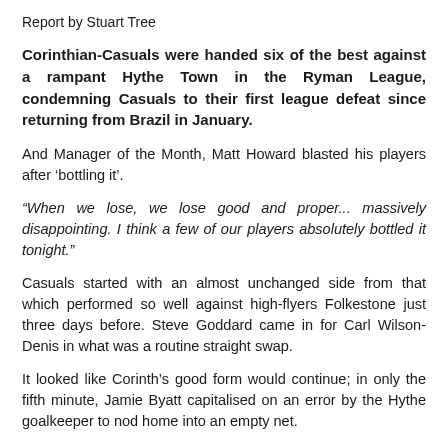Report by Stuart Tree
Corinthian-Casuals were handed six of the best against a rampant Hythe Town in the Ryman League, condemning Casuals to their first league defeat since returning from Brazil in January.
And Manager of the Month, Matt Howard blasted his players after 'bottling it'.
“When we lose, we lose good and proper... massively disappointing. I think a few of our players absolutely bottled it tonight.”
Casuals started with an almost unchanged side from that which performed so well against high-flyers Folkestone just three days before. Steve Goddard came in for Carl Wilson-Denis in what was a routine straight swap.
It looked like Corinth’s good form would continue; in only the fifth minute, Jamie Byatt capitalised on an error by the Hythe goalkeeper to nod home into an empty net.
However, it was to only go one way after that. Ten minutes later and